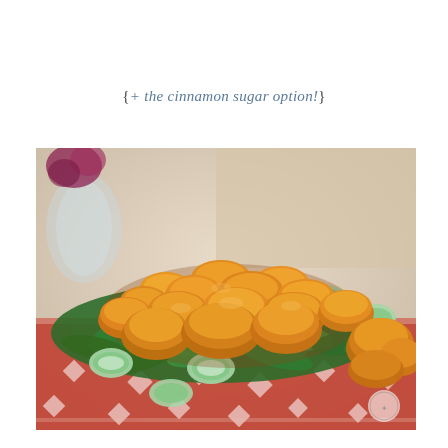{+ the cinnamon sugar option!}
[Figure (photo): Close-up photo of glazed/breaded chicken pieces served on a bed of fresh spinach leaves and cucumber slices, with a red and white patterned cloth napkin in the background and a glass vase with a flower in the upper left corner. A small watermark logo is visible in the lower right corner.]